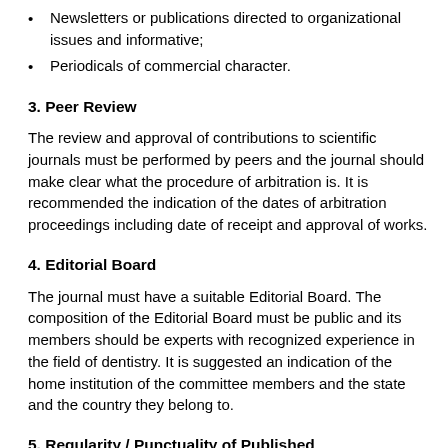translated or presented in other journals, reports of societies activities or scientific associations, abstracts, news and reviews;
Newsletters or publications directed to organizational issues and informative;
Periodicals of commercial character.
3. Peer Review
The review and approval of contributions to scientific journals must be performed by peers and the journal should make clear what the procedure of arbitration is. It is recommended the indication of the dates of arbitration proceedings including date of receipt and approval of works.
4. Editorial Board
The journal must have a suitable Editorial Board. The composition of the Editorial Board must be public and its members should be experts with recognized experience in the field of dentistry. It is suggested an indication of the home institution of the committee members and the state and the country they belong to.
5. Regularity / Punctuality of Published
The regularity of publication is one of the